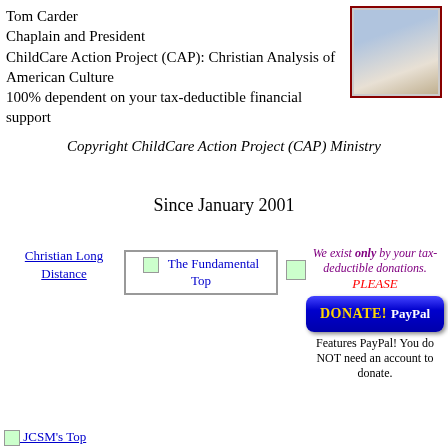Tom Carder
Chaplain and President
ChildCare Action Project (CAP): Christian Analysis of American Culture
100% dependent on your tax-deductible financial support
[Figure (photo): Portrait photo of Tom Carder in a button-up shirt, framed with a dark red border]
Copyright ChildCare Action Project (CAP) Ministry
Since January 2001
Christian Long Distance
[Figure (logo): The Fundamental Top logo with small image icon]
[Figure (logo): Small icon/image placeholder]
We exist only by your tax-deductible donations. PLEASE
[Figure (logo): DONATE! PayPal button in blue with yellow text]
Features PayPal! You do NOT need an account to donate.
JCSM's Top